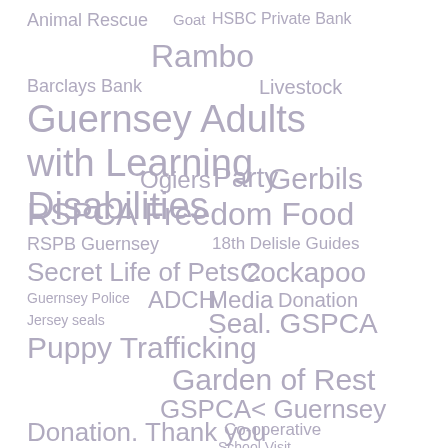Animal Rescue
Goat
HSBC Private Bank
Rambo
Barclays Bank
Livestock
Guernsey Adults with Learning Disabilities
Ogiers
Party
Gerbils
RSPCA Freedom Food
RSPB Guernsey
18th Delisle Guides
Secret Life of Pets 2
Cockapoo
Guernsey Police
ADCH
Media
Donation
Jersey seals
Seal. GSPCA
Puppy Trafficking
Garden of Rest
GSPCA< Guernsey
Donation. Thank you
Co-operative
School Visit